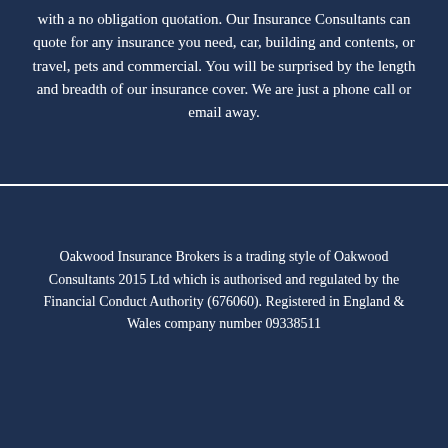with a no obligation quotation. Our Insurance Consultants can quote for any insurance you need, car, building and contents, or travel, pets and commercial. You will be surprised by the length and breadth of our insurance cover. We are just a phone call or email away.
Oakwood Insurance Brokers is a trading style of Oakwood Consultants 2015 Ltd which is authorised and regulated by the Financial Conduct Authority (676060). Registered in England & Wales company number 09338511